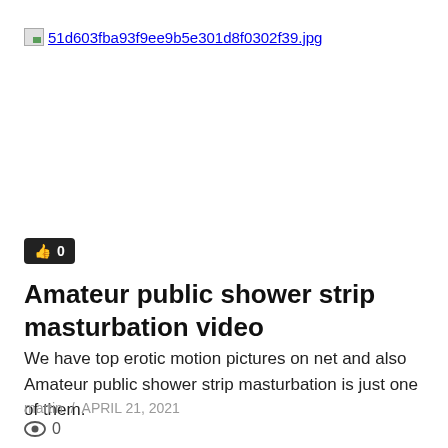[Figure (photo): Broken image placeholder with filename 51d603fba93f9ee9b5e301d8f0302f39.jpg]
[Figure (other): Like button with thumbs up icon showing count 0]
Amateur public shower strip masturbation video
We have top erotic motion pictures on net and also Amateur public shower strip masturbation is just one of them.
martin / APRIL 21, 2021
0